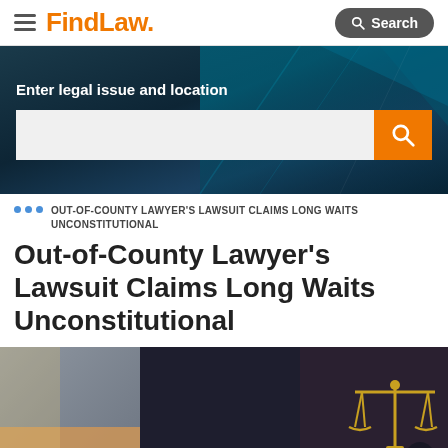FindLaw
[Figure (screenshot): FindLaw website hero banner with search bar labeled 'Enter legal issue and location' on a dark blue/teal background]
OUT-OF-COUNTY LAWYER'S LAWSUIT CLAIMS LONG WAITS UNCONSTITUTIONAL
Out-of-County Lawyer's Lawsuit Claims Long Waits Unconstitutional
[Figure (photo): Photo of a lawyer sitting at a desk with a client, holding golden scales of justice]